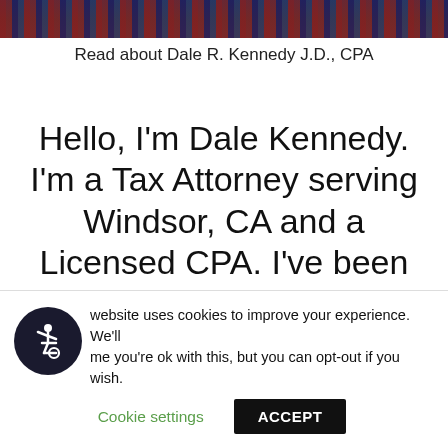[Figure (photo): Top portion of a photo of Dale R. Kennedy, showing clothing with red and blue patterns, cropped at top of page]
Read about Dale R. Kennedy J.D., CPA
Hello, I’m Dale Kennedy. I’m a Tax Attorney serving Windsor, CA and a Licensed CPA. I’ve been creatively and successfully solving complex tax problems for individual taxpayers and small-to-mid-sized businesses for over
website uses cookies to improve your experience. We’ll me you’re ok with this, but you can opt-out if you wish. Cookie settings ACCEPT